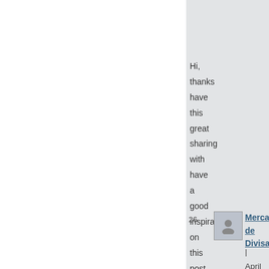| Permalink
Hi, thanks have this great sharing with have a good inspiration on this post…
26.
Mercado de Divisas
| April 6, 2011